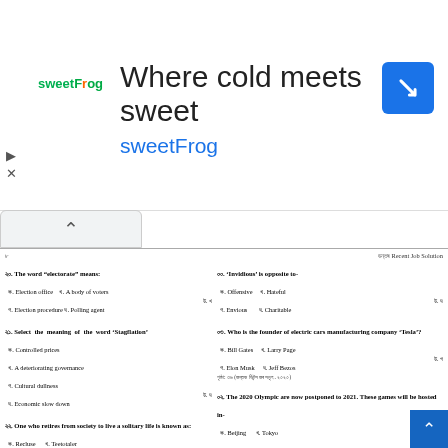[Figure (advertisement): sweetFrog advertisement banner with logo, tagline 'Where cold meets sweet', and navigation icon]
8	জন্তুর Recent Job Solution
20. The word “electorate” means: a. Election office  b. A body of voters  c. Election procedure  d. Polling agent  Ans: b
21. Select the meaning of the word ‘Stagflation’ a. Controlled prices  b. A deteriorating governance  c. Cultural dullness  d. Economic slow down  Ans: d
22. One who retires from society to live a solitary life is known as: a. Recluse  b. Teetotaler  c. Iconoclast  d. Epicure  Ans: a
20. We should always be grateful to one who has suffered for a great cause. Find the substitute word for underlined words. a. Fanatic  b. Martyr  c. Devotee  d. Patriot  Ans: b
00. ‘Invidious’ is opposite to- a. Offensive  b. Hateful  c. Envious  d. Charitable  Ans: d
03. Who is the founder of electric cars manufacturing company ‘Tesla’? a. Bill Gates  b. Larry Page  c. Elon Musk  d. Jeff Bezos  Ans: c
02. The 2020 Olympic are now postponed to 2021. These games will be hosted in- a. Beijing  b. Tokyo  c. London  d. Moscow  Ans: b
09. Bangabandhu’s historic speech March 7 has been included in which schedule of the constitution? a. Fourth Schedule  b. Fifth Schedule  c. Sixth Schedule  d. Seventh Schedule  Ans: ং